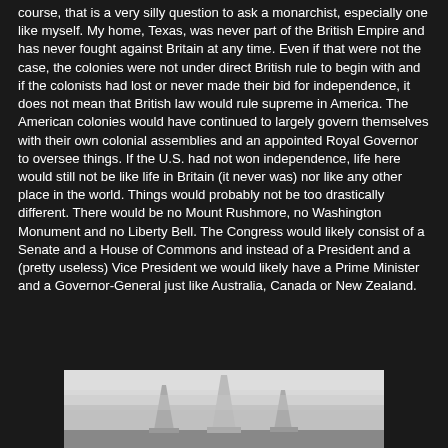course, that is a very silly question to ask a monarchist, especially one like myself. My home, Texas, was never part of the British Empire and has never fought against Britain at any time. Even if that were not the case, the colonies were not under direct British rule to begin with and if the colonists had lost or never made their bid for independence, it does not mean that British law would rule supreme in America. The American colonies would have continued to largely govern themselves with their own colonial assemblies and an appointed Royal Governor to oversee things. If the U.S. had not won independence, life here would still not be like life in Britain (it never was) nor like any other place in the world. Things would probably not be too drastically different. There would be no Mount Rushmore, no Washington Monument and no Liberty Bell. The Congress would likely consist of a Senate and a House of Commons and instead of a President and a (pretty useless) Vice President we would likely have a Prime Minister and a Governor-General just like Australia, Canada or New Zealand.
[Figure (photo): Black and white photograph showing architectural structures, possibly monuments or tall buildings, partially visible at the bottom of the page against a light sky.]